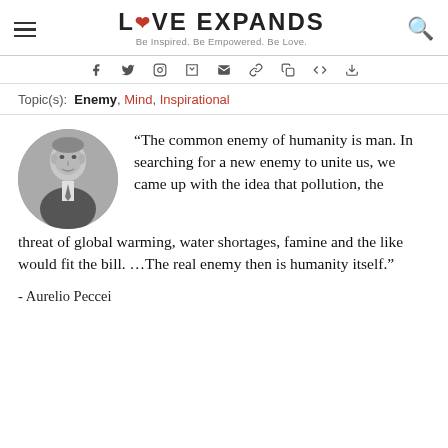LOVE EXPANDS — Be Inspired. Be Empowered. Be Love.
Topic(s): Enemy, Mind, Inspirational
[Figure (photo): Black and white circular portrait photo of Aurelio Peccei, an older man in a suit and tie]
“The common enemy of humanity is man. In searching for a new enemy to unite us, we came up with the idea that pollution, the threat of global warming, water shortages, famine and the like would fit the bill. …The real enemy then is humanity itself.”
- Aurelio Peccei